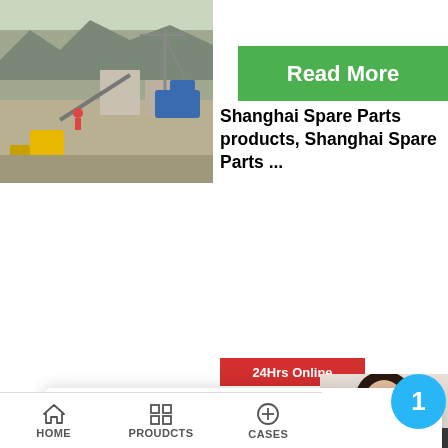[Figure (photo): Aerial/distant view of a quarry or mining/construction site with machinery, buildings, and rocky terrain]
[Figure (screenshot): Green 'Read More' button]
Shanghai Spare Parts products, Shanghai Spare Parts ...
[Figure (screenshot): Red '24Hrs Online' bar]
[Figure (screenshot): Chat popup with agent Irene offering language selection: 1.English 2.Español 3.русский 4.Français 5.bahasa Indonesia 6. عربي]
Irene
Please choose the language you prefer:1.English  2.Español  3.русский  4.Français  5.bahasa Indonesia   6. عربي
[Figure (photo): Stone quarry with stacked stone blocks and rough terrain]
[Figure (screenshot): Green 'Re' (Read More) button]
Zenith cone hookers m...
[Figure (screenshot): Right side panel with person photo, blue badge with number 1, 'Need question & suggestion?' dark bar, 'Chat Now' red button, 'Enquiry' red button, 'limingjlmofen' red button]
HOME   PROUDCTS   CASES